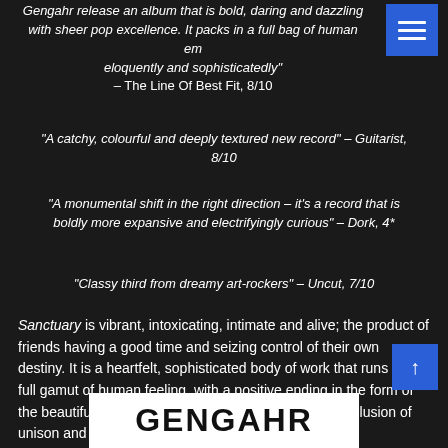Gengahr release an album that is bold, daring and dazzling with sheer pop excellence. It packs in a full bag of human emotions eloquently and sophisticatedly – The Line Of Best Fit, 8/10
"A catchy, colourful and deeply textured new record" – Guitarist, 8/10
"A monumental shift in the right direction – it's a record that is boldly more expansive and electrifyingly curious" – Dork, 4*
"Classy third from dreamy art-rockers" – Uncut, 7/10
Sanctuary is vibrant, intoxicating, intimate and alive; the product of friends having a good time and seizing control of their own destiny. It is a heartfelt, sophisticated body of work that runs the full gamut of human feeling, with a positive ending in the form of the beautiful, twinkling 'Moonlight' – a harmonious conclusion of unison and togetherness, hinting at a bright future.
[Figure (logo): GENGAHR text logo on white background]